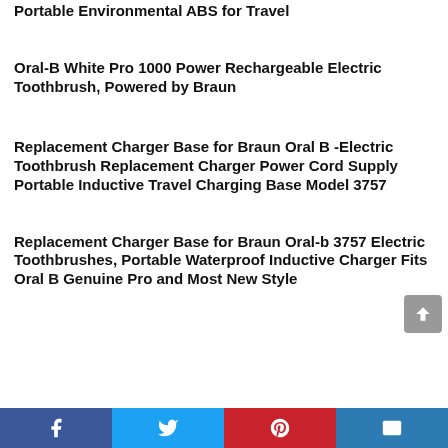Portable Environmental ABS for Travel
Oral-B White Pro 1000 Power Rechargeable Electric Toothbrush, Powered by Braun
Replacement Charger Base for Braun Oral B -Electric Toothbrush Replacement Charger Power Cord Supply Portable Inductive Travel Charging Base Model 3757
Replacement Charger Base for Braun Oral-b 3757 Electric Toothbrushes, Portable Waterproof Inductive Charger Fits Oral B Genuine Pro and Most New Style
Facebook Twitter Pinterest Email